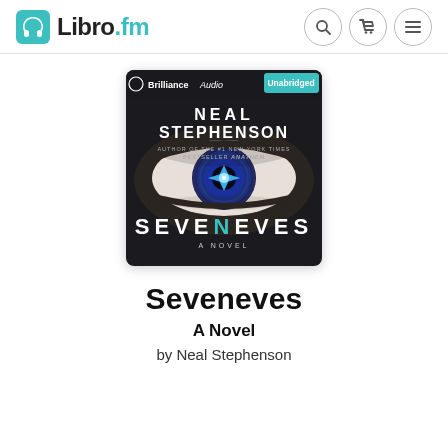Libro.fm
[Figure (illustration): Audiobook cover for Seveneves by Neal Stephenson. Dark background with a close-up of a blue eye. Text: BrillianceAudio, Unabridged, NEAL STEPHENSON, AUTHOR OF THE #1 NEW YORK TIMES BESTSELLER ANATHEM, SEVENEVES, A NOVEL.]
Seveneves
A Novel
by Neal Stephenson